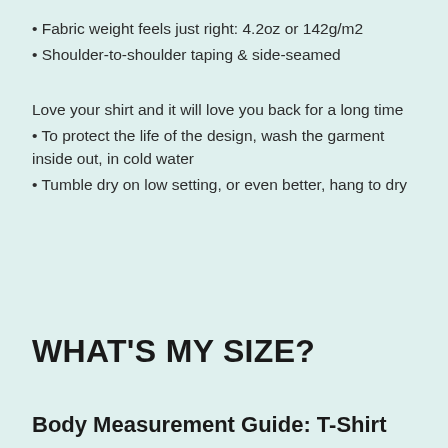Fabric weight feels just right: 4.2oz or 142g/m2
Shoulder-to-shoulder taping & side-seamed
Love your shirt and it will love you back for a long time
To protect the life of the design, wash the garment inside out, in cold water
Tumble dry on low setting, or even better, hang to dry
WHAT'S MY SIZE?
Body Measurement Guide: T-Shirt